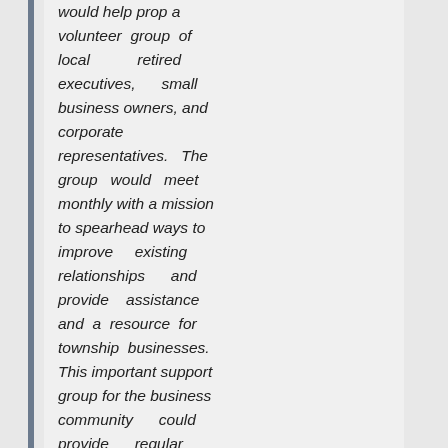would help prop a volunteer group of local retired executives, small business owners, and corporate representatives. The group would meet monthly with a mission to spearhead ways to improve existing relationships and provide assistance and a resource for township businesses. This important support group for the business community could provide regular updates and suggestions to the